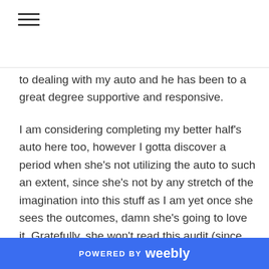[Figure (other): Hamburger menu icon (three horizontal lines)]
to dealing with my auto and he has been to a great degree supportive and responsive.
I am considering completing my better half's auto here too, however I gotta discover a period when she's not utilizing the auto to such an extent, since she's not by any stretch of the imagination into this stuff as I am yet once she sees the outcomes, damn she's going to love it. Gratefully, she won't read this audit (since she doesn't look up auto places), so won't
POWERED BY weebly